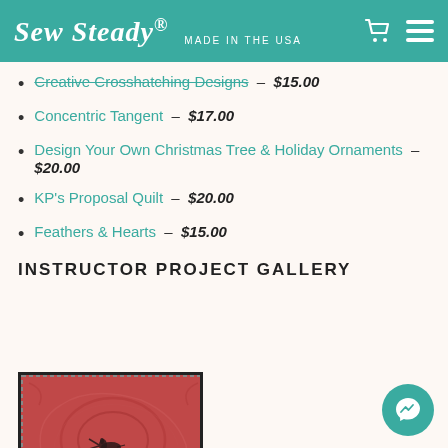Sew Steady® MADE IN THE USA
Creative Crosshatching Designs – $15.00
Concentric Tangent – $17.00
Design Your Own Christmas Tree & Holiday Ornaments – $20.00
KP's Proposal Quilt – $20.00
Feathers & Hearts – $15.00
INSTRUCTOR PROJECT GALLERY
[Figure (photo): A red/pink quilt with decorative quilting patterns and a small hummingbird design in the center, black border]